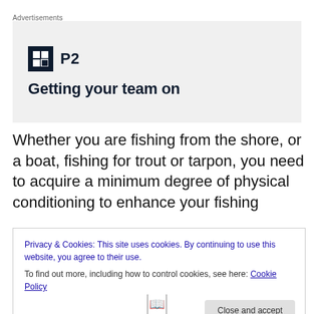Advertisements
[Figure (logo): Advertisement box with a dark square logo icon containing a grid/box symbol followed by 'P2' text and tagline 'Getting your team on']
Whether you are fishing from the shore, or a boat, fishing for trout or tarpon, you need to acquire a minimum degree of physical conditioning to enhance your fishing
Privacy & Cookies: This site uses cookies. By continuing to use this website, you agree to their use.
To find out more, including how to control cookies, see here: Cookie Policy
Close and accept